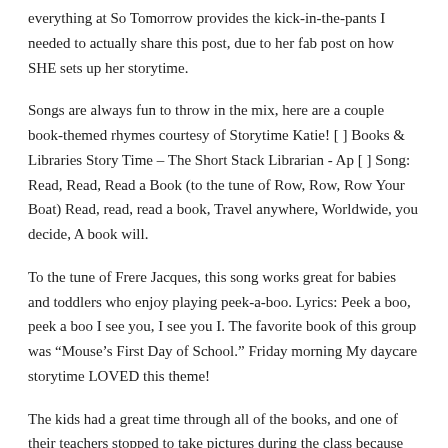everything at So Tomorrow provides the kick-in-the-pants I needed to actually share this post, due to her fab post on how SHE sets up her storytime.
Songs are always fun to throw in the mix, here are a couple book-themed rhymes courtesy of Storytime Katie! [ ] Books & Libraries Story Time – The Short Stack Librarian - Ap [ ] Song: Read, Read, Read a Book (to the tune of Row, Row, Row Your Boat) Read, read, read a book, Travel anywhere, Worldwide, you decide, A book will.
To the tune of Frere Jacques, this song works great for babies and toddlers who enjoy playing peek-a-boo. Lyrics: Peek a boo, peek a boo I see you, I see you I. The favorite book of this group was “Mouse’s First Day of School.” Friday morning My daycare storytime LOVED this theme!
The kids had a great time through all of the books, and one of their teachers stopped to take pictures during the class because the kids were having such a great time.